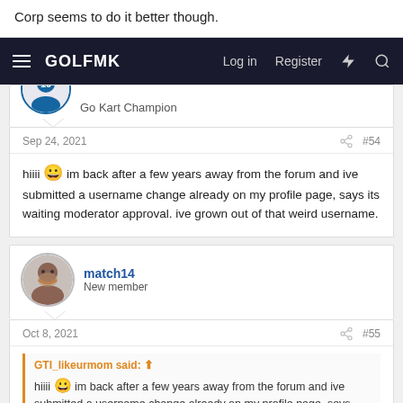Corp seems to do it better though.
GOLFMK  Log in  Register
Go Kart Champion
Sep 24, 2021  #54
hiiii 😀 im back after a few years away from the forum and ive submitted a username change already on my profile page, says its waiting moderator approval. ive grown out of that weird username.
match14
New member
Oct 8, 2021  #55
GTI_likeurmom said: ↑
hiiii 😀 im back after a few years away from the forum and ive submitted a username change already on my profile page, says